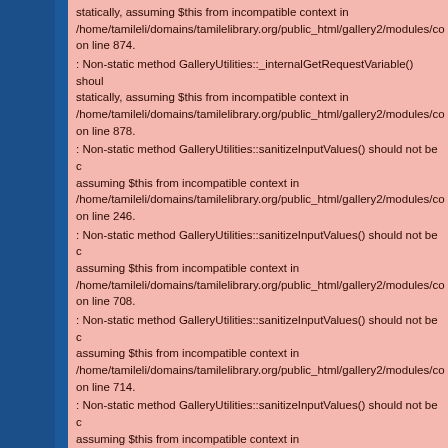statically, assuming $this from incompatible context in /home/tamileli/domains/tamilelibrary.org/public_html/gallery2/modules/co on line 874.
: Non-static method GalleryUtilities::_internalGetRequestVariable() should not be called statically, assuming $this from incompatible context in /home/tamileli/domains/tamilelibrary.org/public_html/gallery2/modules/co on line 878.
: Non-static method GalleryUtilities::sanitizeInputValues() should not be called assuming $this from incompatible context in /home/tamileli/domains/tamilelibrary.org/public_html/gallery2/modules/co on line 246.
: Non-static method GalleryUtilities::sanitizeInputValues() should not be called assuming $this from incompatible context in /home/tamileli/domains/tamilelibrary.org/public_html/gallery2/modules/co on line 708.
: Non-static method GalleryUtilities::sanitizeInputValues() should not be called assuming $this from incompatible context in /home/tamileli/domains/tamilelibrary.org/public_html/gallery2/modules/co on line 714.
: Non-static method GalleryUtilities::sanitizeInputValues() should not be called assuming $this from incompatible context in /home/tamileli/domains/tamilelibrary.org/public_html/gallery2/modules/co on line 708.